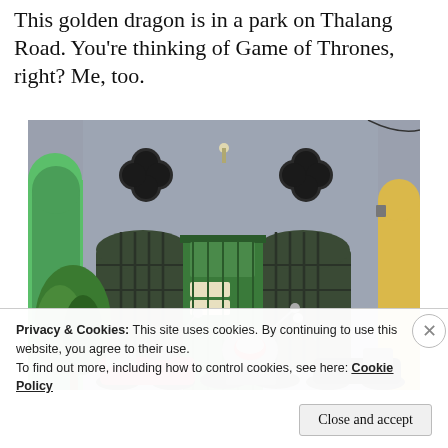This golden dragon is in a park on Thalang Road. You're thinking of Game of Thrones, right? Me, too.
[Figure (photo): Facade of an old weathered building with blue-grey walls, two quatrefoil-shaped upper windows with iron bars, two arched windows with green wooden shutters flanking a central green door. Several motorcycles/scooters parked in front. A green leafy plant visible on the left and yellow archway on the right.]
Privacy & Cookies: This site uses cookies. By continuing to use this website, you agree to their use.
To find out more, including how to control cookies, see here: Cookie Policy
Close and accept